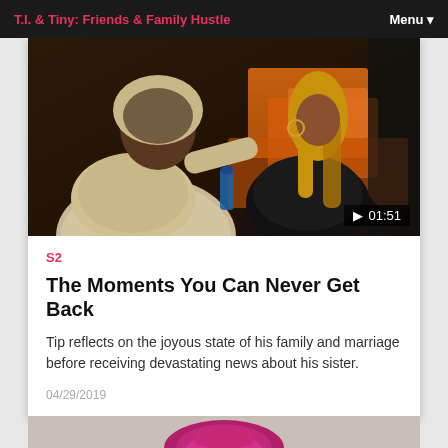T.I. & Tiny: Friends & Family Hustle | Menu
[Figure (photo): A man in a light hoodie and a woman in a black leather jacket with long blonde hair, sitting together surrounded by orange boxes, in a dark setting. A video thumbnail with play button showing duration 01:51.]
S2
The Moments You Can Never Get Back
Tip reflects on the joyous state of his family and marriage before receiving devastating news about his sister.
04/29/2019
[Figure (photo): Partial view of a second card showing a person with bright magenta/pink hair, cropped at bottom of page.]